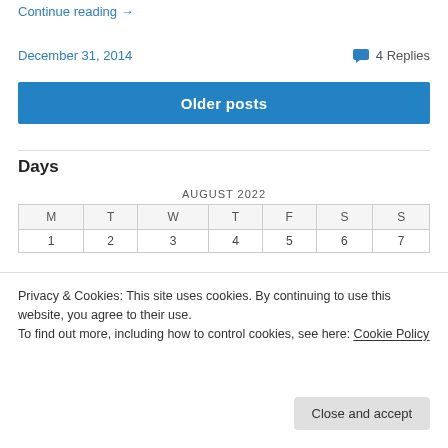Continue reading →
December 31, 2014   💬 4 Replies
Older posts
Days
| M | T | W | T | F | S | S |
| --- | --- | --- | --- | --- | --- | --- |
| 1 | 2 | 3 | 4 | 5 | 6 | 7 |
Privacy & Cookies: This site uses cookies. By continuing to use this website, you agree to their use.
To find out more, including how to control cookies, see here: Cookie Policy